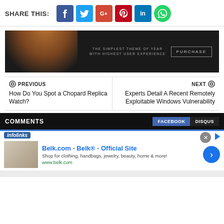SHARE THIS:
[Figure (infographic): Social share buttons: Facebook (blue), Twitter (cyan), Google+ (red), Pinterest (red), LinkedIn (blue), WhatsApp (green circle)]
[Figure (infographic): Dark banner advertisement with lamp image. Text: THE SIMPLEST THEME OF YEAR WITH HIGHEST USER EXPERIENCE. Button: PURCHASE]
PREVIOUS
How Do You Spot a Chopard Replica Watch?
NEXT
Experts Detail A Recent Remotely Exploitable Windows Vulnerability
COMMENTS
FACEBOOK
DISQUS
[Figure (infographic): infolinks ad banner with Belk.com advertisement. Title: Belk.com - Belk® - Official Site. Description: Shop for clothing, handbags, jewelry, beauty, home & more! URL: www.belk.com]